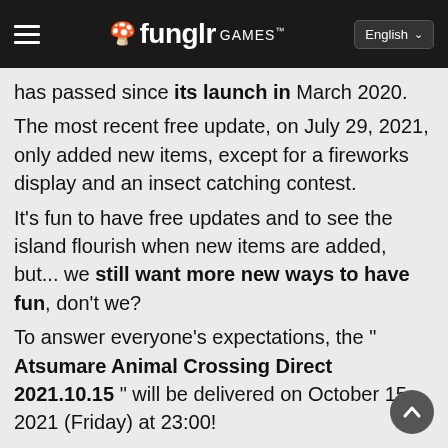funglr GAMES — English
has passed since its launch in March 2020.
The most recent free update, on July 29, 2021, only added new items, except for a fireworks display and an insect catching contest.
It's fun to have free updates and to see the island flourish when new items are added, but... we still want more new ways to have fun, don't we?
To answer everyone's expectations, the " Atsumare Animal Crossing Direct 2021.10.15 " will be delivered on October 15, 2021 (Friday) at 23:00!
In the first half of the session, information about the next free update was announced!